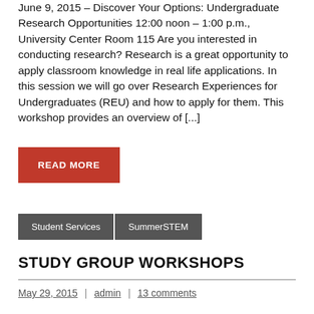June 9, 2015 – Discover Your Options: Undergraduate Research Opportunities 12:00 noon – 1:00 p.m., University Center Room 115 Are you interested in conducting research? Research is a great opportunity to apply classroom knowledge in real life applications. In this session we will go over Research Experiences for Undergraduates (REU) and how to apply for them. This workshop provides an overview of [...]
READ MORE
Student Services | SummerSTEM
STUDY GROUP WORKSHOPS
May 29, 2015 | admin | 13 comments